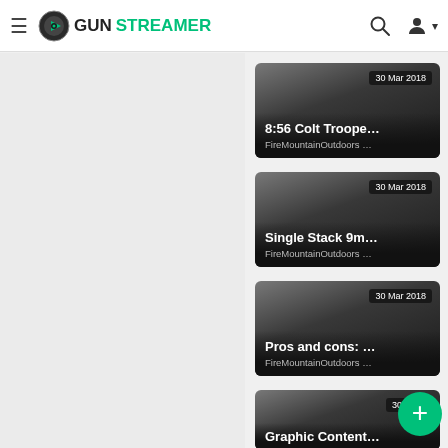GunStreamer — navigation header with hamburger menu, logo, search icon, account icon
[Figure (screenshot): Video thumbnail card 1: date '30 Mar 2018', title '8:56 Colt Troope...', channel 'FireMountainOutdoors ...']
[Figure (screenshot): Video thumbnail card 2: date '30 Mar 2018', title 'Single Stack 9m...', channel 'FireMountainOutdoors ...']
[Figure (screenshot): Video thumbnail card 3: date '30 Mar 2018', title 'Pros and cons: ...', channel 'FireMountainOutdoors ...']
[Figure (screenshot): Video thumbnail card 4 (partially visible): date '30 Ma...', title 'Graphic Content...' (truncated)]